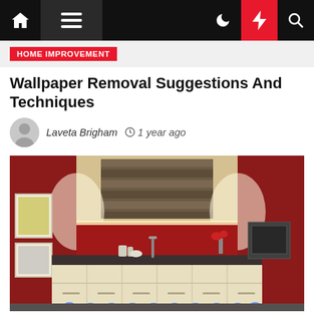Navigation bar with home, menu, moon, bolt, search icons
HOME IMPROVEMENT
Wallpaper Removal Suggestions And Techniques
Laveta Brigham  1 year ago
[Figure (photo): Modern kitchen interior with dark red walls, cream-colored lower cabinets, black countertop with sink and appliances, wooden roman blind over the window area, blue under-cabinet LED lights, and recessed ceiling spotlights.]